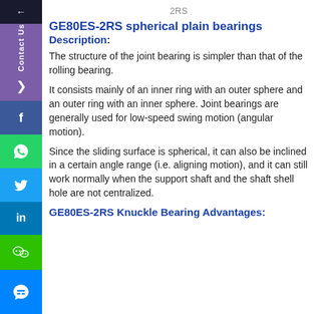2RS
GE80ES-2RS spherical plain bearings
Description:
The structure of the joint bearing is simpler than that of the rolling bearing.
It consists mainly of an inner ring with an outer sphere and an outer ring with an inner sphere. Joint bearings are generally used for low-speed swing motion (angular motion).
Since the sliding surface is spherical, it can also be inclined in a certain angle range (i.e. aligning motion), and it can still work normally when the support shaft and the shaft shell hole are not centralized.
GE80ES-2RS Knuckle Bearing Advantages: